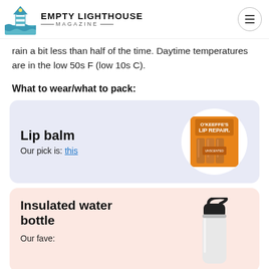Empty Lighthouse Magazine
rain a bit less than half of the time. Daytime temperatures are in the low 50s F (low 10s C).
What to wear/what to pack:
[Figure (photo): Product card with lip balm (O'Keeffe's Lip Repair sticks) on a light blue/lavender background. Title: Lip balm. Text: Our pick is: this (link).]
[Figure (photo): Product card with insulated water bottle on a light pink background. Title: Insulated water bottle. Text: Our fave:]